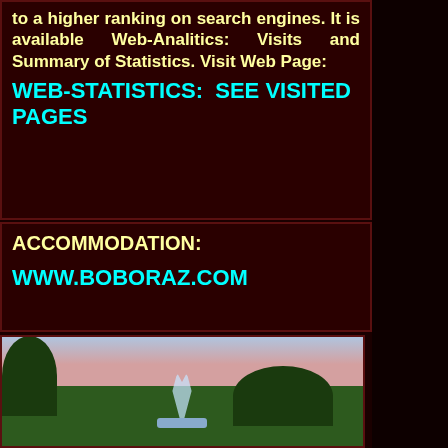to a higher ranking on search engines. It is available Web-Analitics: Visits and Summary of Statistics. Visit Web Page:
WEB-STATISTICS: SEE VISITED PAGES
ACCOMMODATION:
WWW.BOBORAZ.COM
[Figure (photo): Outdoor park scene at dusk/sunset with trees on left and right, a fountain in the center foreground, and a gradient sky from blue to pinkish-red in the background.]